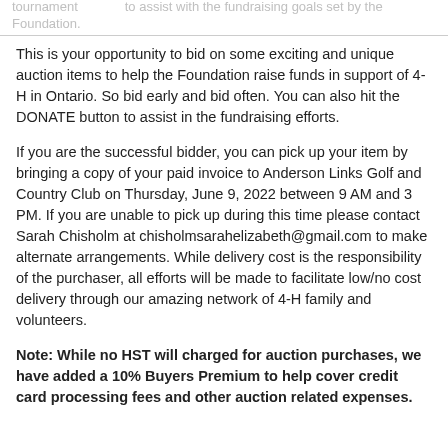tournament to assist with the fundraising goals set by the Foundation.
This is your opportunity to bid on some exciting and unique auction items to help the Foundation raise funds in support of 4-H in Ontario. So bid early and bid often. You can also hit the DONATE button to assist in the fundraising efforts.
If you are the successful bidder, you can pick up your item by bringing a copy of your paid invoice to Anderson Links Golf and Country Club on Thursday, June 9, 2022 between 9 AM and 3 PM. If you are unable to pick up during this time please contact Sarah Chisholm at chisholmsarahelizabeth@gmail.com to make alternate arrangements. While delivery cost is the responsibility of the purchaser, all efforts will be made to facilitate low/no cost delivery through our amazing network of 4-H family and volunteers.
Note: While no HST will charged for auction purchases, we have added a 10% Buyers Premium to help cover credit card processing fees and other auction related expenses.